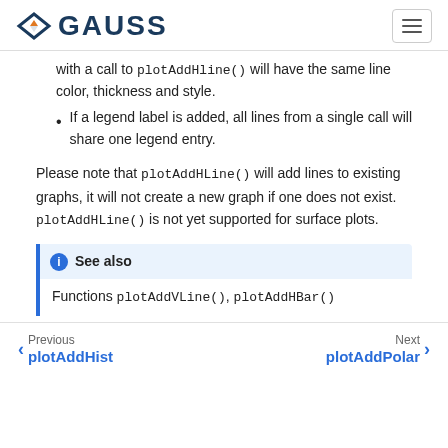GAUSS
with a call to plotAddHline() will have the same line color, thickness and style.
If a legend label is added, all lines from a single call will share one legend entry.
Please note that plotAddHLine() will add lines to existing graphs, it will not create a new graph if one does not exist. plotAddHLine() is not yet supported for surface plots.
See also
Functions plotAddVLine(), plotAddHBar()
Previous plotAddHist | Next plotAddPolar